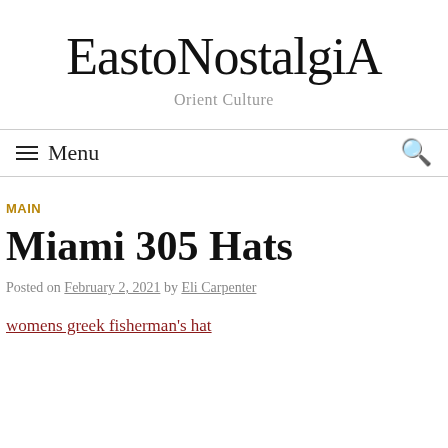EastoNostalgiA
Orient Culture
Menu
MAIN
Miami 305 Hats
Posted on February 2, 2021 by Eli Carpenter
womens greek fisherman's hat